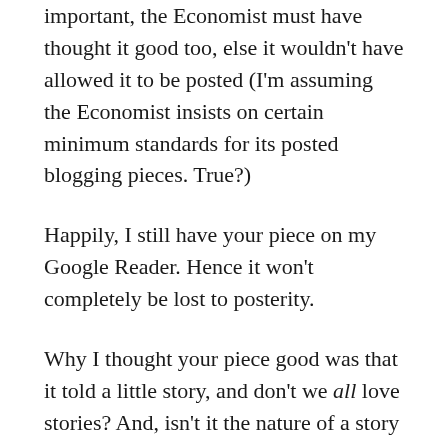important, the Economist must have thought it good too, else it wouldn't have allowed it to be posted (I'm assuming the Economist insists on certain minimum standards for its posted blogging pieces. True?)
Happily, I still have your piece on my Google Reader. Hence it won't completely be lost to posterity.
Why I thought your piece good was that it told a little story, and don't we all love stories? And, isn't it the nature of a story that its writer tacitly invites its readers to interpret it anyway they want? Isn't how a reader interprets a story a reflection on the reader, not on the story's